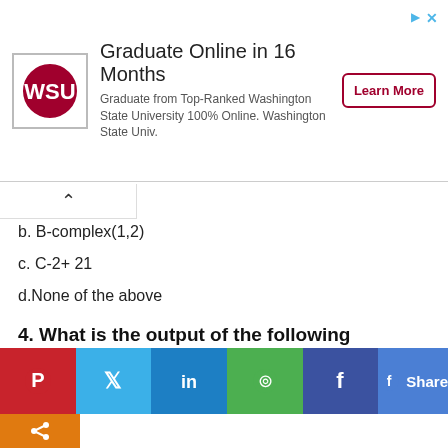[Figure (other): Advertisement banner for Washington State University online graduate program with logo, text, and Learn More button]
b. B-complex(1,2)
c. C-2+ 21
d.None of the above
4. What is the output of the following statement?
round(1.5-round (-1.5) by
a. 1
[Figure (other): Social media share bar with Pinterest, Twitter, LinkedIn, WhatsApp, Facebook icons and Share button, plus a more/share icon below]